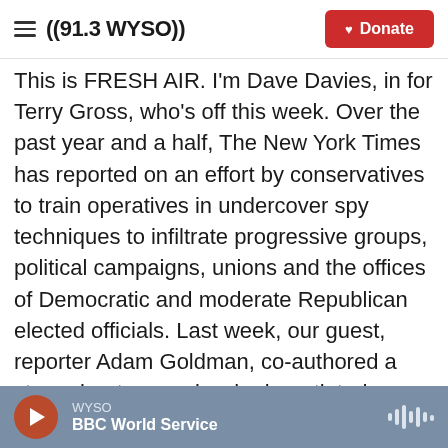((91.3 WYSO)) | Donate
This is FRESH AIR. I'm Dave Davies, in for Terry Gross, who's off this week. Over the past year and a half, The New York Times has reported on an effort by conservatives to train operatives in undercover spy techniques to infiltrate progressive groups, political campaigns, unions and the offices of Democratic and moderate Republican elected officials. Last week, our guest, reporter Adam Goldman, co-authored a story about a couple who ingratiated themselves with Democrats in Wyoming, often making substantial political contributions to ensure their access to valuable information. They'd been recruited and trained in an
WYSO | BBC World Service